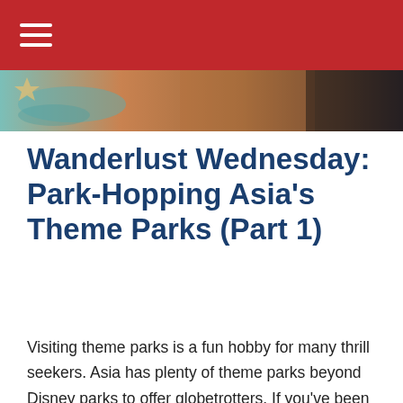≡
[Figure (photo): Hero banner image showing a theme park or resort with water features, warm orange and teal tones, partially visible architecture]
Wanderlust Wednesday: Park-Hopping Asia's Theme Parks (Part 1)
Visiting theme parks is a fun hobby for many thrill seekers. Asia has plenty of theme parks beyond Disney parks to offer globetrotters. If you've been bitten by the travel bug, take the time to check out these parks on your adventures! LEGOLAND...
Read More